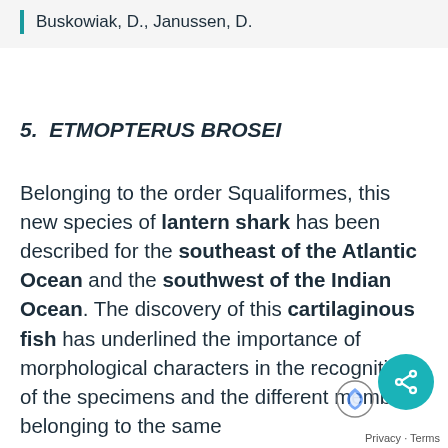Buskowiak, D., Janussen, D.
5. ETMOPTERUS BROSEI
Belonging to the order Squaliformes, this new species of lantern shark has been described for the southeast of the Atlantic Ocean and the southwest of the Indian Ocean. The discovery of this cartilaginous fish has underlined the importance of morphological characters in the recognition of the specimens and the different members belonging to the same